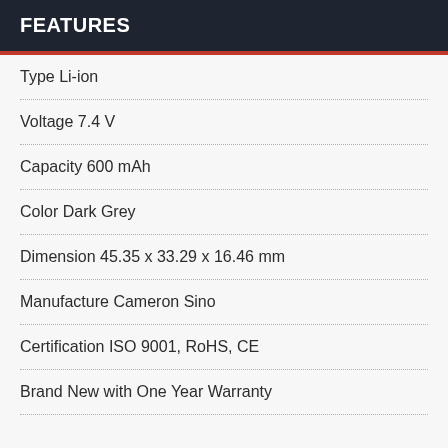FEATURES
Type Li-ion
Voltage 7.4 V
Capacity 600 mAh
Color Dark Grey
Dimension 45.35 x 33.29 x 16.46 mm
Manufacture Cameron Sino
Certification ISO 9001, RoHS, CE
Brand New with One Year Warranty